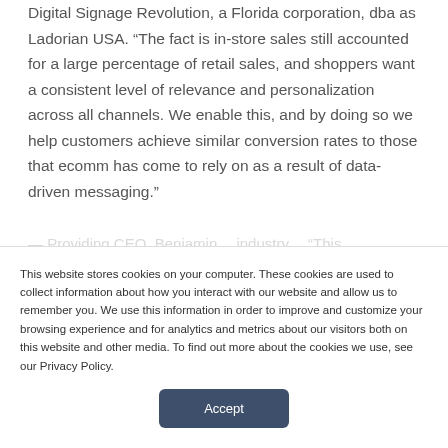Digital Signage Revolution, a Florida corporation, dba as Ladorian USA. “The fact is in-store sales still accounted for a large percentage of retail sales, and shoppers want a consistent level of relevance and personalization across all channels. We enable this, and by doing so we help customers achieve similar conversion rates to those that ecomm has come to rely on as a result of data-driven messaging.”
This website stores cookies on your computer. These cookies are used to collect information about how you interact with our website and allow us to remember you. We use this information in order to improve and customize your browsing experience and for analytics and metrics about our visitors both on this website and other media. To find out more about the cookies we use, see our Privacy Policy.